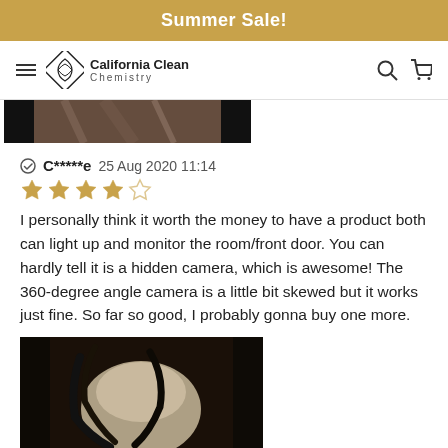Summer Sale!
[Figure (logo): California Clean Chemistry logo with diamond/infinity geometric mark and text]
[Figure (photo): Top portion of a product image, partially cropped, showing fabric/textile pattern]
C*****e 25 Aug 2020 11:14
[Figure (other): 4 out of 5 stars rating]
I personally think it worth the money to have a product both can light up and monitor the room/front door. You can hardly tell it is a hidden camera, which is awesome! The 360-degree angle camera is a little bit skewed but it works just fine. So far so good, I probably gonna buy one more.
[Figure (photo): Dark photo showing what appears to be a white device mounted, with dark background]